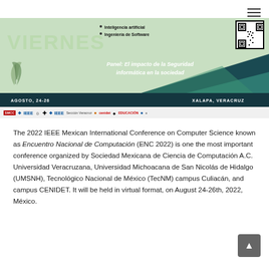[Figure (infographic): Conference banner for 2022 ENC/IEEE Mexican International Conference on Computer Science, showing VIERNES text, bullet points (Inteligencia artificial, Ingeniería de Software), panel title 'El impacto de la Seguridad informática en la sociedad', dates AGOSTO, 24-26, location XALAPA, VERACRUZ, and sponsor logos including SMCC, IEEE, cenidet, educación]
The 2022 IEEE Mexican International Conference on Computer Science known as Encuentro Nacional de Computación (ENC 2022) is one the most important conference organized by Sociedad Mexicana de Ciencia de Computación A.C. Universidad Veracruzana, Universidad Michoacana de San Nicolás de Hidalgo (UMSNH), Tecnológico Nacional de México (TecNM) campus Culiacán, and campus CENIDET. It will be held in virtual format, on August 24-26th, 2022, México.